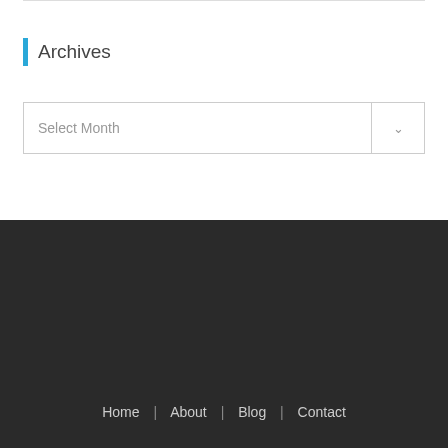Archives
Select Month
Home | About | Blog | Contact